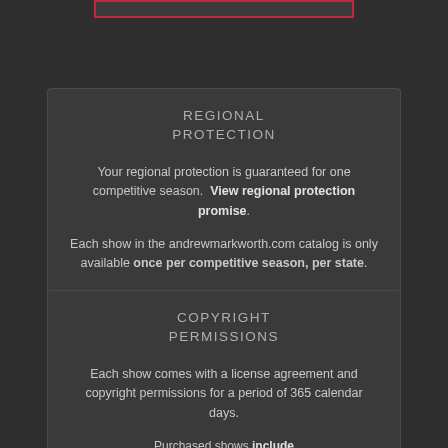[Figure (other): Partial red-bordered input box at top of page]
REGIONAL PROTECTION
Your regional protection is guaranteed for one competitive season.  View regional protection promise.
Each show in the andrewmarkworth.com catalog is only available once per competitive season, per state.
COPYRIGHT PERMISSIONS
Each show comes with a license agreement and copyright permissions for a period of 365 calendar days.
Purchased shows include